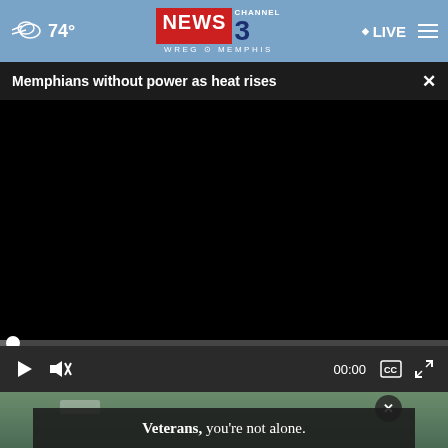74° NEWS CHANNEL 3 WREG MEMPHIS LIVE
Memphians without power as heat rises
[Figure (screenshot): Black video player frame with playback controls: play button, mute button, time 00:00, captions button, fullscreen button. Progress bar at the bottom of the video area.]
[Figure (screenshot): Bottom banner showing outdoor scene with close X button and advertisement overlay: Veterans, you're not alone.]